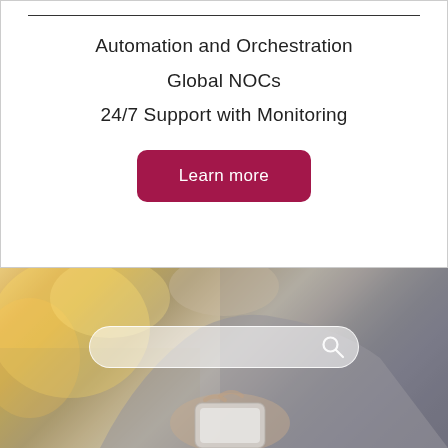Automation and Orchestration
Global NOCs
24/7 Support with Monitoring
Learn more
[Figure (photo): Person holding a smartphone with a search bar overlay on the image]